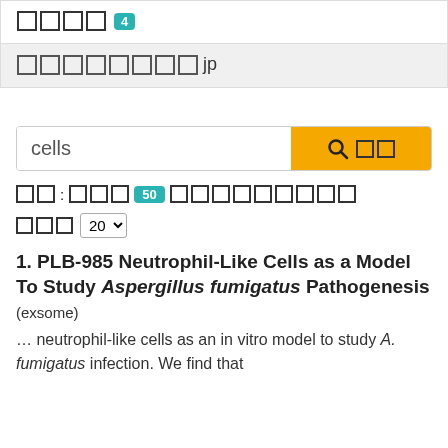□□□□ 4
□□□□□□□□jp
cells
□□
□□: □□□ 50 □□□□□□□□□
□□□ 20
1. PLB-985 Neutrophil-Like Cells as a Model To Study Aspergillus fumigatus Pathogenesis
(exsome)
… neutrophil-like cells as an in vitro model to study A. fumigatus infection. We find that